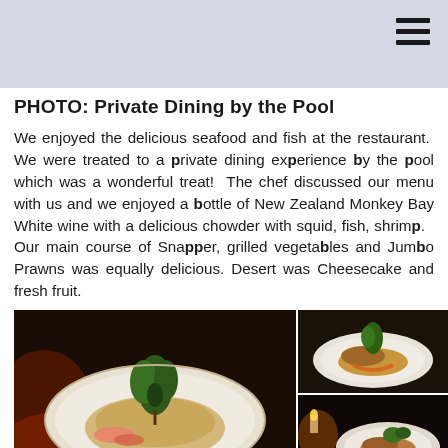PHOTO:  Private Dining by the Pool
We enjoyed the delicious seafood and fish at the restaurant.  We were treated to a private dining experience by the pool which was a wonderful treat!  The chef discussed our menu with us and we enjoyed a bottle of New Zealand Monkey Bay White wine with a delicious chowder with squid, fish, shrimp.  Our main course of Snapper, grilled vegetables and Jumbo Prawns was equally delicious. Desert was Cheesecake and fresh fruit.
[Figure (photo): Left: large photo of a plated dish with seafood on a white plate, garnished with herbs, on a dark restaurant table. Top right: smaller photo of a plated fish dish on a white plate. Bottom right: smaller photo of a seafood dish on a dark table with candlelight.]